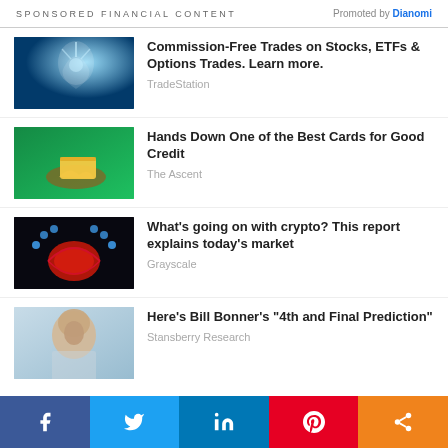SPONSORED FINANCIAL CONTENT   Promoted by Dianomi
[Figure (photo): Underwater scene with blue light]
Commission-Free Trades on Stocks, ETFs & Options Trades. Learn more.
TradeStation
[Figure (photo): Hand holding yellow credit card on green background]
Hands Down One of the Best Cards for Good Credit
The Ascent
[Figure (photo): Brain with neon lights on dark background]
What’s going on with crypto? This report explains today’s market
Grayscale
[Figure (photo): Older man portrait]
Here’s Bill Bonner’s “4th and Final Prediction”
Stansberry Research
Facebook Twitter LinkedIn Pinterest Share